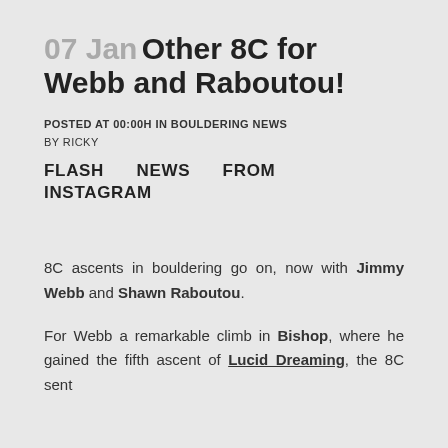07 Jan Other 8C for Webb and Raboutou!
POSTED AT 00:00H IN BOULDERING NEWS
BY RICKY
FLASH NEWS FROM INSTAGRAM
8C ascents in bouldering go on, now with Jimmy Webb and Shawn Raboutou.
For Webb a remarkable climb in Bishop, where he gained the fifth ascent of Lucid Dreaming, the 8C sent